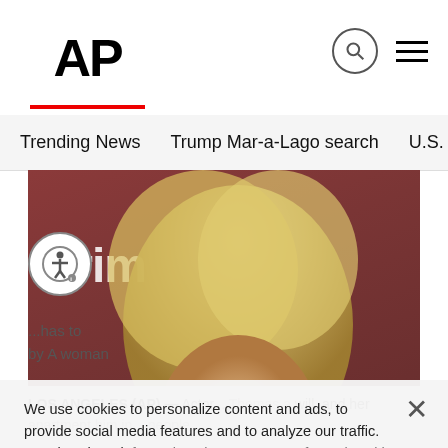AP
Trending News
Trump Mar-a-Lago search
U.S. Open Tennis
[Figure (photo): Blonde woman smiling in front of Amazon Prime backdrop]
We use cookies to personalize content and ads, to provide social media features and to analyze our traffic. We also share information about your use of our site with our social media, advertising and analytics partners. Privacy Policy
LOS ANGELES (AP) — Actor... Thomas a will, and her apartment him in... people,